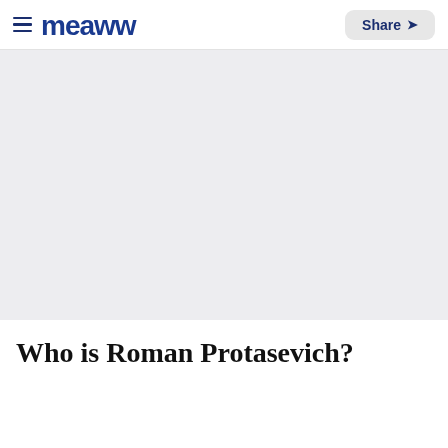Meaww — Share
[Figure (photo): Large light gray placeholder image area for article hero image]
Who is Roman Protasevich?